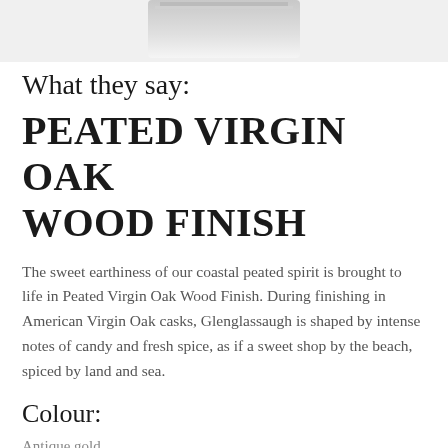[Figure (photo): Partial image of a whisky bottle at the top of the page, showing bottom portion of bottle against white background]
What they say:
PEATED VIRGIN OAK WOOD FINISH
The sweet earthiness of our coastal peated spirit is brought to life in Peated Virgin Oak Wood Finish. During finishing in American Virgin Oak casks, Glenglassaugh is shaped by intense notes of candy and fresh spice, as if a sweet shop by the beach, spiced by land and sea.
Colour:
Antique gold.
Nose: